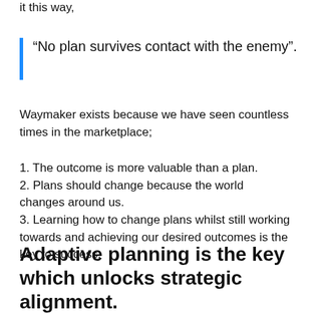it this way,
“No plan survives contact with the enemy”.
Waymaker exists because we have seen countless times in the marketplace;
1. The outcome is more valuable than a plan.
2. Plans should change because the world changes around us.
3. Learning how to change plans whilst still working towards and achieving our desired outcomes is the key to success.
Adaptive planning is the key which unlocks strategic alignment.